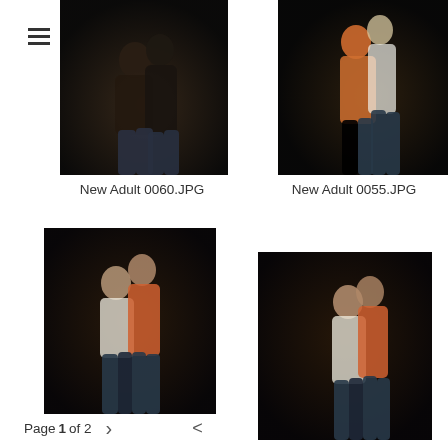[Figure (logo): The Reed Files logo — 'the' in small red italic, 'Reed' in large red serif italic, 'Files' in large gray serif italic]
[Figure (photo): A couple embracing closely, woman in dark top, man in dark shirt, dark studio background. Top-left photo.]
New Adult 0060.JPG
[Figure (photo): A couple embracing, woman in white tank top behind man in orange shirt, dark studio background. Top-right photo.]
New Adult 0055.JPG
[Figure (photo): A couple nearly kissing, woman in white top, man in orange shirt, dark studio background. Bottom-left photo.]
[Figure (photo): A man in orange shirt standing behind a woman in white top, dark studio background. Bottom-right photo.]
New Adult 0051.JPG
Page 1 of 2